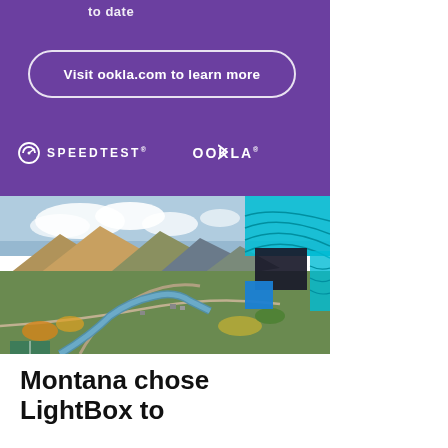to date
Visit ookla.com to learn more
[Figure (logo): Speedtest by Ookla logos — white SPEEDTEST and OOKLA logos on purple background]
[Figure (photo): Aerial photograph of a Montana town with river, mountains, and autumn foliage, overlaid with teal topographic map graphic elements and dark/blue square accents]
Montana chose LightBox to